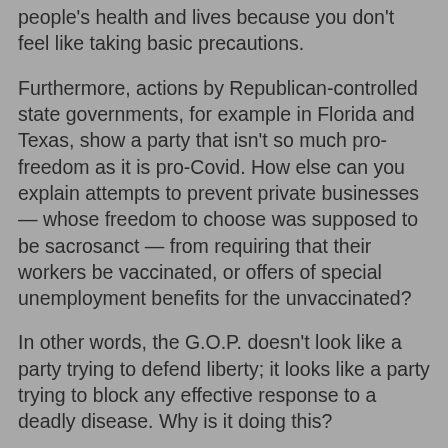people's health and lives because you don't feel like taking basic precautions.
Furthermore, actions by Republican-controlled state governments, for example in Florida and Texas, show a party that isn't so much pro-freedom as it is pro-Covid. How else can you explain attempts to prevent private businesses — whose freedom to choose was supposed to be sacrosanct — from requiring that their workers be vaccinated, or offers of special unemployment benefits for the unvaccinated?
In other words, the G.O.P. doesn't look like a party trying to defend liberty; it looks like a party trying to block any effective response to a deadly disease. Why is it doing this?
What seems to be happening instead goes beyond cold calculation. As I've pointed out in the past, Republican politicians now act like apparatchiks in an authoritarian regime,